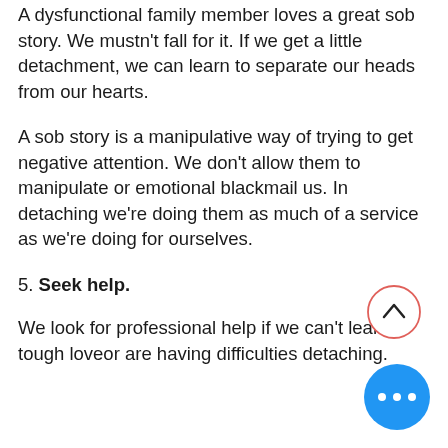A dysfunctional family member loves a great sob story. We mustn't fall for it. If we get a little detachment, we can learn to separate our heads from our hearts.
A sob story is a manipulative way of trying to get negative attention. We don't allow them to manipulate or emotional blackmail us. In detaching we're doing them as much of a service as we're doing for ourselves.
5. Seek help.
We look for professional help if we can't learn tough loveor are having difficulties detaching.